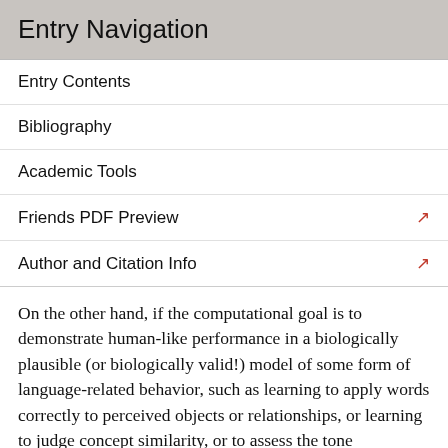Entry Navigation
Entry Contents
Bibliography
Academic Tools
Friends PDF Preview
Author and Citation Info
On the other hand, if the computational goal is to demonstrate human-like performance in a biologically plausible (or biologically valid!) model of some form of language-related behavior, such as learning to apply words correctly to perceived objects or relationships, or learning to judge concept similarity, or to assess the tone (underlying sentiment) of a discourse segment, then symbolic representations need not play any role in the computational modeling. (However, to the extent that language is symbolic, and is a cognitive phenomenon,